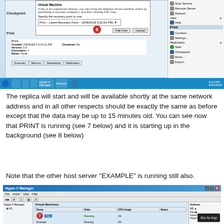[Figure (screenshot): Hyper-V Manager window showing a Failover dialog with a 'Fail Over' button circled as step 6, along with VM details and context menu on the right, with Windows taskbar at bottom.]
The replica will start and will be available shortly at the same network address and in all other respects should be exactly the same as before except that the data may be up to 15 minutes old. You can see now that PRINT is running (see 7 below) and it is starting up in the background (see 8 below)
Note that the other host server "EXAMPLE" is running still also.
[Figure (screenshot): Hyper-V Manager window showing Virtual Machines list with PRINT running (step 7 circled) and a 'Go to top' button overlay.]